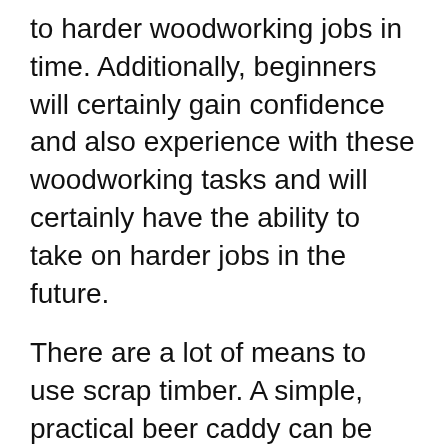to harder woodworking jobs in time. Additionally, beginners will certainly gain confidence and also experience with these woodworking tasks and will certainly have the ability to take on harder jobs in the future.
There are a lot of means to use scrap timber. A simple, practical beer caddy can be created utilizing pallet timber. Beginner woodworking projects might likewise include furniture. For instance, a simple side table can be made from a 4×4 cut to dimension. This straightforward project can additionally act as a location to keep precious jewelry. You can likewise use it to display a beautiful flower holder. It is an superb interior decoration task as well as does not call for a